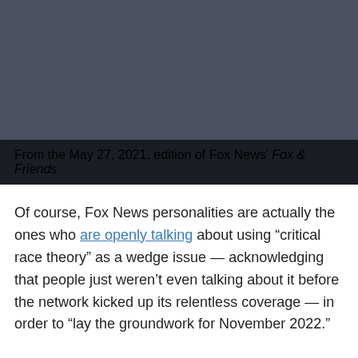[Figure (screenshot): Dark gray video player area from Fox News' Fox & Friends, May 27, 2021 edition]
From the May 27, 2021, edition of Fox News' Fox & Friends
Of course, Fox News personalities are actually the ones who are openly talking about using "critical race theory" as a wedge issue — acknowledging that people just weren't even talking about it before the network kicked up its relentless coverage — in order to "lay the groundwork for November 2022."